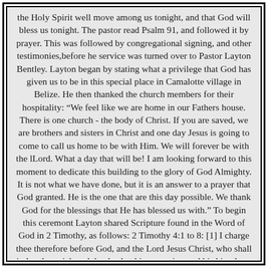the Holy Spirit well move among us tonight, and that God will bless us tonight. The pastor read Psalm 91, and followed it by prayer. This was followed by congregational signing, and other testimonies,before he service was turned over to Pastor Layton Bentley. Layton began by stating what a privilege that God has given us to be in this special place in Camalotte village in Belize. He then thanked the church members for their hospitality: “We feel like we are home in our Fathers house. There is one church - the body of Christ. If you are saved, we are brothers and sisters in Christ and one day Jesus is going to come to call us home to be with Him. We will forever be with the lLord. What a day that will be! I am looking forward to this moment to dedicate this building to the glory of God Almighty. It is not what we have done, but it is an answer to a prayer that God granted. He is the one that are this day possible. We thank God for the blessings that He has blessed us with.” To begin this ceremont Layton shared Scripture found in the Word of God in 2 Timothy, as follows: 2 Timothy 4:1 to 8: [1] I charge thee therefore before God, and the Lord Jesus Christ, who shall judge the quick and the dead at his appearing and his kingdom; [2] Preach the word; be instant in season, out of season; reprove, rebuke, exhort with all